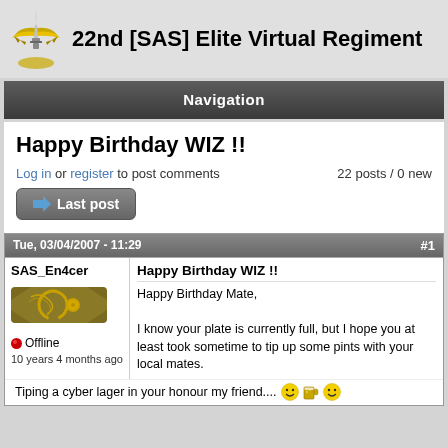22nd [SAS] Elite Virtual Regiment
Navigation
Happy Birthday WIZ !!
Log in or register to post comments
22 posts / 0 new
Last post
Tue, 03/04/2007 - 11:29  #1
SAS_En4cer
Happy Birthday WIZ !!
Offline
10 years 4 months ago
Happy Birthday Mate,

I know your plate is currently full, but I hope you at least took sometime to tip up some pints with your local mates.
Tiping a cyber lager in your honour my friend....